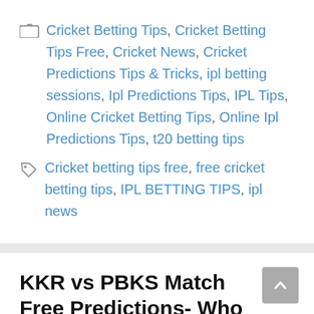Cricket Betting Tips, Cricket Betting Tips Free, Cricket News, Cricket Predictions Tips & Tricks, ipl betting sessions, Ipl Predictions Tips, IPL Tips, Online Cricket Betting Tips, Online Ipl Predictions Tips, t20 betting tips
Cricket betting tips free, free cricket betting tips, IPL BETTING TIPS, ipl news
KKR vs PBKS Match Free Predictions- Who Will Win Today?